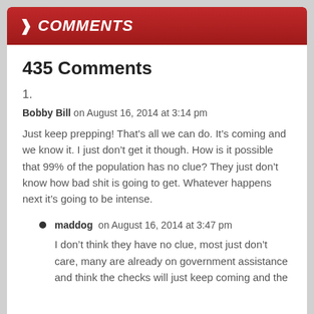> COMMENTS
435 Comments
1.
Bobby Bill on August 16, 2014 at 3:14 pm
Just keep prepping! That’s all we can do. It’s coming and we know it. I just don’t get it though. How is it possible that 99% of the population has no clue? They just don’t know how bad shit is going to get. Whatever happens next it’s going to be intense.
maddog on August 16, 2014 at 3:47 pm
I don’t think they have no clue, most just don’t care, many are already on government assistance and think the checks will just keep coming and the...